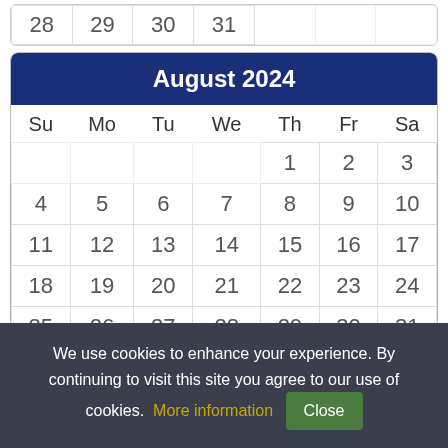| Su | Mo | Tu | We | Th | Fr | Sa |
| --- | --- | --- | --- | --- | --- | --- |
| 28 | 29 | 30 | 31 |  |  |  |
August 2024
| Su | Mo | Tu | We | Th | Fr | Sa |
| --- | --- | --- | --- | --- | --- | --- |
|  |  |  |  | 1 | 2 | 3 |
| 4 | 5 | 6 | 7 | 8 | 9 | 10 |
| 11 | 12 | 13 | 14 | 15 | 16 | 17 |
| 18 | 19 | 20 | 21 | 22 | 23 | 24 |
| 25 | 26 | 27 | 28 | 29 | 30 | 31 |
September 2024
| Su | Mo | Tu | We | Th | Fr | Sa |
| --- | --- | --- | --- | --- | --- | --- |
We use cookies to enhance your experience. By continuing to visit this site you agree to our use of cookies. More information Close